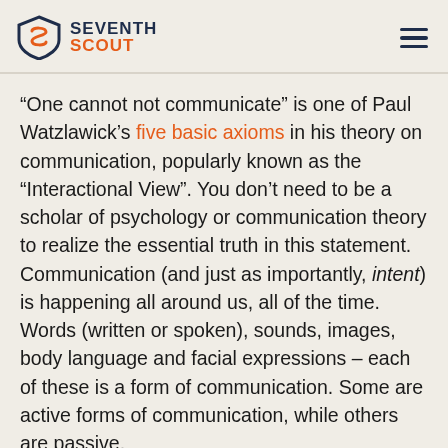SEVENTH SCOUT
“One cannot not communicate” is one of Paul Watzlawick’s five basic axioms in his theory on communication, popularly known as the “Interactional View”. You don’t need to be a scholar of psychology or communication theory to realize the essential truth in this statement. Communication (and just as importantly, intent) is happening all around us, all of the time. Words (written or spoken), sounds, images, body language and facial expressions – each of these is a form of communication. Some are active forms of communication, while others are passive.